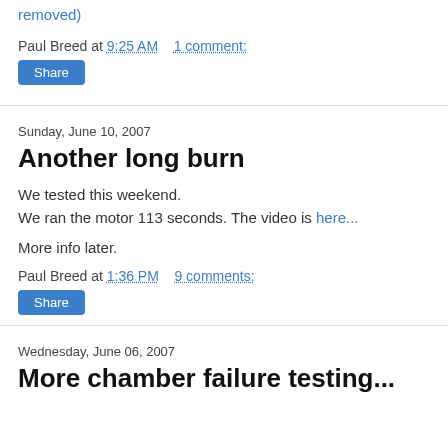removed)
Paul Breed at 9:25 AM    1 comment:
Share
Sunday, June 10, 2007
Another long burn
We tested this weekend.
We ran the motor 113 seconds. The video is here...
More info later.
Paul Breed at 1:36 PM    9 comments:
Share
Wednesday, June 06, 2007
More chamber failure testing...